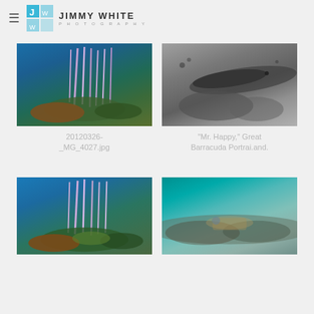JIMMY WHITE PHOTOGRAPHY
[Figure (photo): Underwater coral reef scene with purple/pink sea rods against blue water]
20120326-_MG_4027.jpg
[Figure (photo): Black and white photo of a Great Barracuda portrait with coral background]
"Mr. Happy," Great Barracuda Portrai.and.
[Figure (photo): Underwater coral reef scene with purple sea rods against blue water, similar to first image]
[Figure (photo): Underwater teal/turquoise sandy bottom scene with coral and marine life]